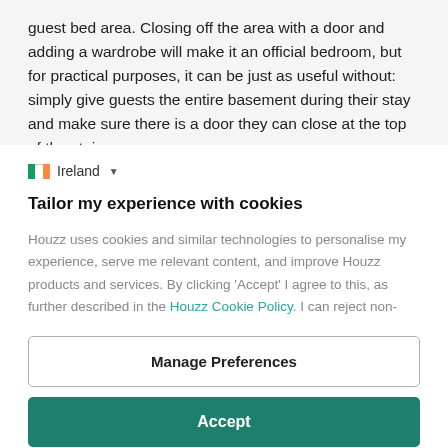guest bed area. Closing off the area with a door and adding a wardrobe will make it an official bedroom, but for practical purposes, it can be just as useful without: simply give guests the entire basement during their stay and make sure there is a door they can close at the top of the stairs.
Ireland
Tailor my experience with cookies
Houzz uses cookies and similar technologies to personalise my experience, serve me relevant content, and improve Houzz products and services. By clicking 'Accept' I agree to this, as further described in the Houzz Cookie Policy. I can reject non-
Manage Preferences
Accept